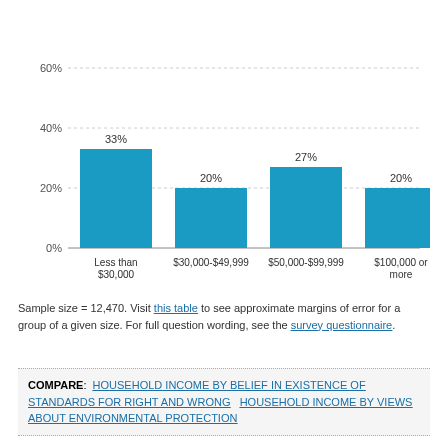[Figure (bar-chart): ]
Sample size = 12,470. Visit this table to see approximate margins of error for a group of a given size. For full question wording, see the survey questionnaire.
COMPARE: HOUSEHOLD INCOME BY BELIEF IN EXISTENCE OF STANDARDS FOR RIGHT AND WRONG   HOUSEHOLD INCOME BY VIEWS ABOUT ENVIRONMENTAL PROTECTION